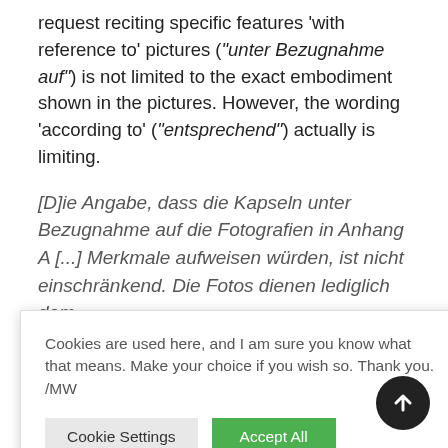request reciting specific features 'with reference to' pictures ("unter Bezugnahme auf") is not limited to the exact embodiment shown in the pictures. However, the wording 'according to' ("entsprechend") actually is limiting.
[D]ie Angabe, dass die Kapseln unter Bezugnahme auf die Fotografien in Anhang A [...] Merkmale aufweisen würden, ist nicht einschränkend. Die Fotos dienen lediglich dem ...sbegehrens 1. ...die ...mit den ...psel ein,
Cookies are used here, and I am sure you know what that means. Make your choice if you wish so. Thank you. /MW
Cookie Settings | Accept All
...r conservation for lawyers presentation (CHF 48/000...)